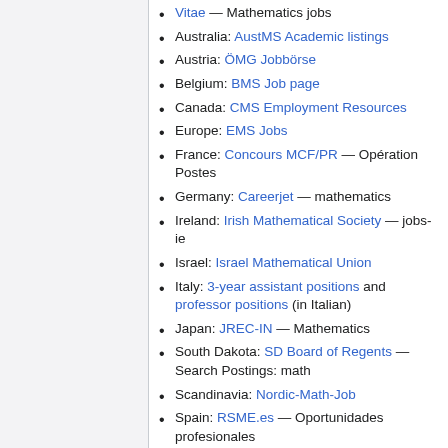Vitae — Mathematics jobs
Australia: AustMS Academic listings
Austria: ÖMG Jobbörse
Belgium: BMS Job page
Canada: CMS Employment Resources
Europe: EMS Jobs
France: Concours MCF/PR — Opération Postes
Germany: Careerjet — mathematics
Ireland: Irish Mathematical Society — jobs-ie
Israel: Israel Mathematical Union
Italy: 3-year assistant positions and professor positions (in Italian)
Japan: JREC-IN — Mathematics
South Dakota: SD Board of Regents — Search Postings: math
Scandinavia: Nordic-Math-Job
Spain: RSME.es — Oportunidades profesionales
Switzerland: Swiss Mathematical Society — Jobs